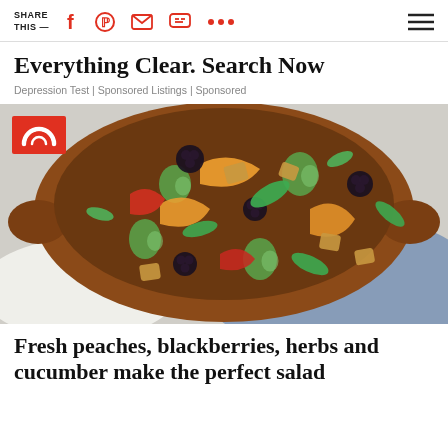SHARE THIS — [social icons: Facebook, Pinterest, Email, Chat, More, Menu]
Everything Clear. Search Now
Depression Test | Sponsored Listings | Sponsored
[Figure (photo): A terracotta bowl filled with a colorful salad of fresh peaches, blackberries, cucumber slices, herbs (mint and basil), and croutons. A red Today show logo badge appears in the top-left corner of the image.]
Fresh peaches, blackberries, herbs and cucumber make the perfect salad